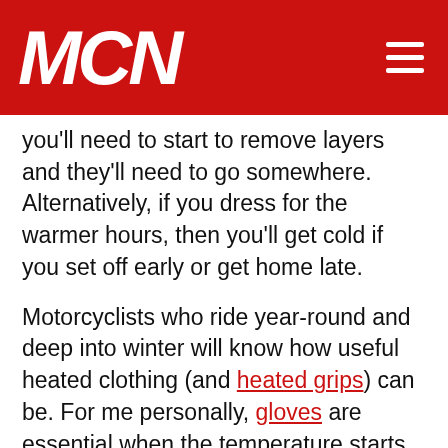MCN
you'll need to start to remove layers and they'll need to go somewhere. Alternatively, if you dress for the warmer hours, then you'll get cold if you set off early or get home late.
Motorcyclists who ride year-round and deep into winter will know how useful heated clothing (and heated grips) can be. For me personally, gloves are essential when the temperature starts to approach zero and while I am generally okay in my winter outers to around that sort of temperature, much colder has me reaching for a heated vest.
When I need further assistance, I turn to a...